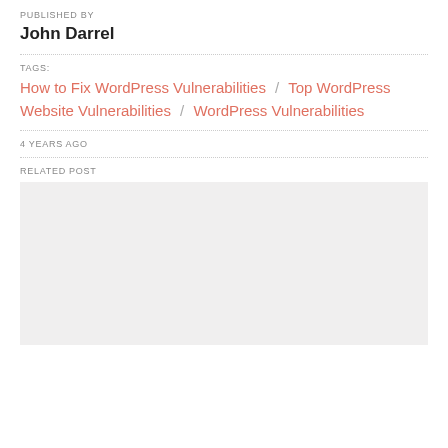PUBLISHED BY
John Darrel
TAGS:
How to Fix WordPress Vulnerabilities  /  Top WordPress Website Vulnerabilities  /  WordPress Vulnerabilities
4 YEARS AGO
RELATED POST
[Figure (other): Light gray placeholder image box for a related post thumbnail]